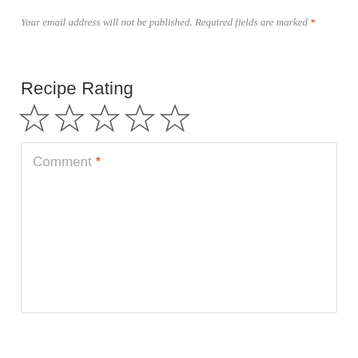Your email address will not be published. Required fields are marked *
Recipe Rating
[Figure (other): Five empty star icons for recipe rating]
Comment *